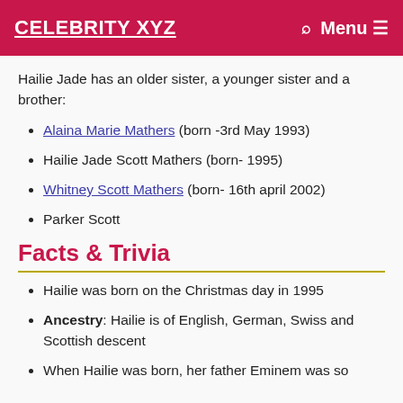CELEBRITY XYZ  Menu
Hailie Jade has an older sister, a younger sister and a brother:
Alaina Marie Mathers (born -3rd May 1993)
Hailie Jade Scott Mathers (born- 1995)
Whitney Scott Mathers (born- 16th april 2002)
Parker Scott
Facts & Trivia
Hailie was born on the Christmas day in 1995
Ancestry: Hailie is of English, German, Swiss and Scottish descent
When Hailie was born, her father Eminem was so